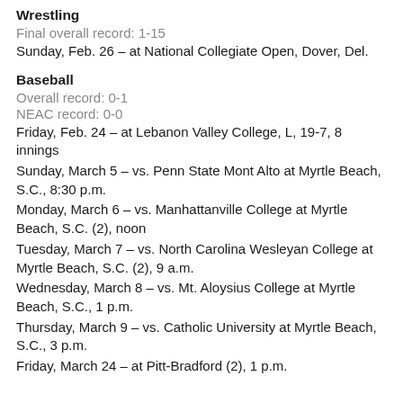Wrestling
Final overall record: 1-15
Sunday, Feb. 26 – at National Collegiate Open, Dover, Del.
Baseball
Overall record: 0-1
NEAC record: 0-0
Friday, Feb. 24 – at Lebanon Valley College, L, 19-7, 8 innings
Sunday, March 5 – vs. Penn State Mont Alto at Myrtle Beach, S.C., 8:30 p.m.
Monday, March 6 – vs. Manhattanville College at Myrtle Beach, S.C. (2), noon
Tuesday, March 7 – vs. North Carolina Wesleyan College at Myrtle Beach, S.C. (2), 9 a.m.
Wednesday, March 8 – vs. Mt. Aloysius College at Myrtle Beach, S.C., 1 p.m.
Thursday, March 9 – vs. Catholic University at Myrtle Beach, S.C., 3 p.m.
Friday, March 24 – at Pitt-Bradford (2), 1 p.m.